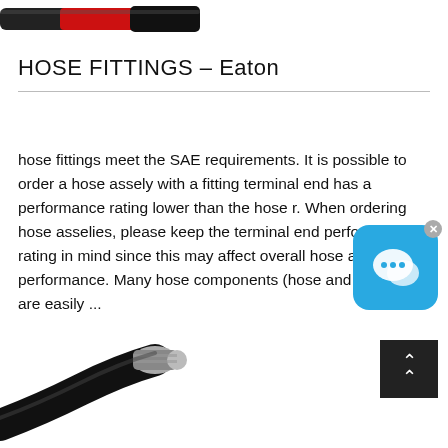[Figure (photo): Partial view of red and black hose fittings at top of page]
HOSE FITTINGS – Eaton
hose fittings meet the SAE requirements. It is possible to order a hose assely with a fitting terminal end has a performance rating lower than the hose r. When ordering hose asselies, please keep the terminal end performance rating in mind since this may affect overall hose assely performance. Many hose components (hose and fittings) are easily ...
[Figure (photo): Black hydraulic hose with metal fitting/connector at bottom left of page]